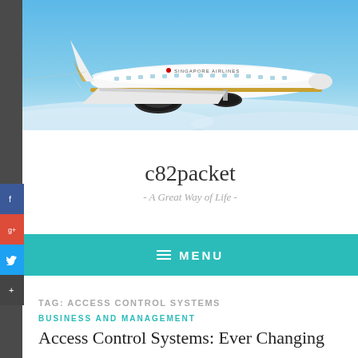[Figure (photo): Singapore Airlines aircraft (wide-body jet) flying against a blue sky with clouds below]
c82packet
- A Great Way of Life -
≡ MENU
TAG: ACCESS CONTROL SYSTEMS
BUSINESS AND MANAGEMENT
Access Control Systems: Ever Changing